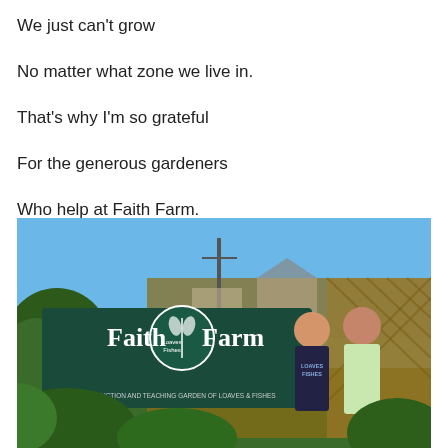We just can't grow
No matter what zone we live in.
That's why I'm so grateful
For the generous gardeners
Who help at Faith Farm.
[Figure (photo): Two people standing in front of a dark green Faith Farm sign that reads 'Faith Farm - Loaves Fishes - A Production and Teaching Garden of Loaves & Fishes'. There is a wooden lattice fence behind them and green foliage around. Blue sky visible in background.]